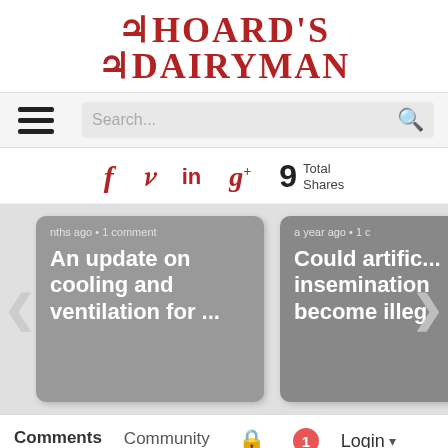[Figure (logo): Hoard's Dairyman logo in red serif decorative font]
[Figure (screenshot): Navigation bar with hamburger menu and search box]
[Figure (infographic): Social sharing bar with Facebook, Twitter, LinkedIn, Google+ icons and 9 Total Shares]
[Figure (screenshot): Carousel with two article cards: 'An update on cooling and ventilation for ...' and 'Could artific... insemination become illeg...']
[Figure (screenshot): Tabs bar with Comments, Community, lock icon, notification badge 1, Login]
[Figure (screenshot): Advertisement banner: JCR FEEDLOT - FOR SALE, Sterling, Colorado, Reck AG, with scroll-to-top button]